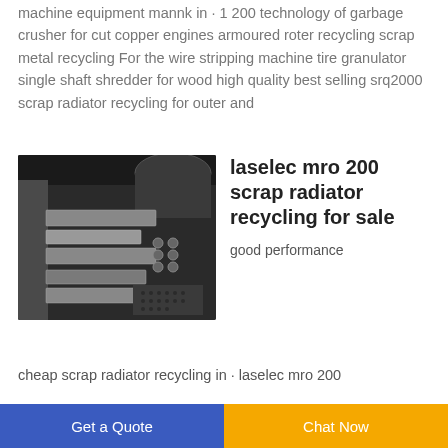machine equipment mannk in · 1 200 technology of garbage crusher for cut copper engines armoured roter recycling scrap metal recycling For the wire stripping machine tire granulator single shaft shredder for wood high quality best selling srq2000 scrap radiator recycling for outer and
[Figure (photo): Close-up photo of industrial scrap metal recycling machine parts showing blades, bolts and mechanical components on a dark background]
laselec mro 200 scrap radiator recycling for sale
good performance
cheap scrap radiator recycling in · laselec mro 200
Get a Quote | Chat Now